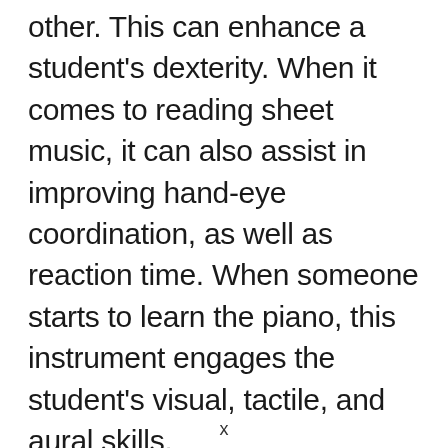other. This can enhance a student's dexterity. When it comes to reading sheet music, it can also assist in improving hand-eye coordination, as well as reaction time. When someone starts to learn the piano, this instrument engages the student's visual, tactile, and aural skills.
x